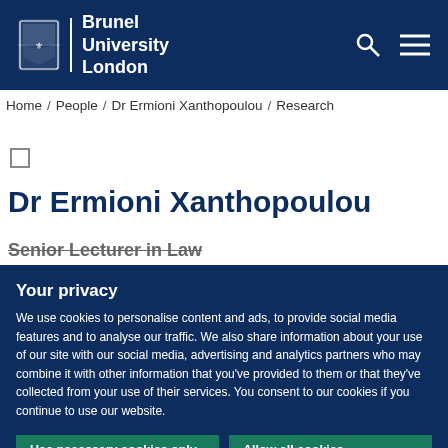Brunel University London
Home / People / Dr Ermioni Xanthopoulou / Research
Dr Ermioni Xanthopoulou
Senior Lecturer in Law
Your privacy
We use cookies to personalise content and ads, to provide social media features and to analyse our traffic. We also share information about your use of our site with our social media, advertising and analytics partners who may combine it with other information that you've provided to them or that they've collected from your use of their services. You consent to our cookies if you continue to use our website.
Use necessary cookies only
Allow all cookies
Show details